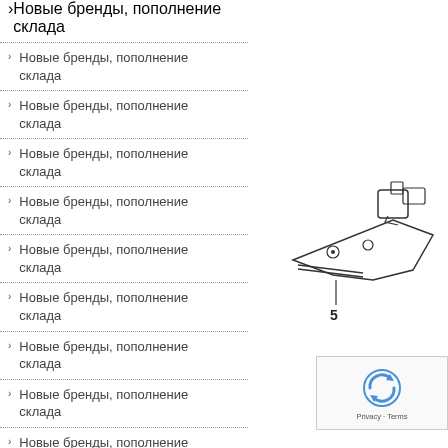Новые бренды, пополнение склада
Новые бренды, пополнение склада
Новые бренды, пополнение склада
Новые бренды, пополнение склада
Новые бренды, пополнение склада
Новые бренды, пополнение склада
Новые бренды, пополнение склада
Новые бренды, пополнение склада
Новые бренды, пополнение склада
Новые бренды, пополнение склада
Новые бренды, пополнение
[Figure (engineering-diagram): Technical diagram of a mechanical part (appears to be a sewing machine foot or similar component) with label '5' pointing to a part]
1
[Figure (other): reCAPTCHA widget with Privacy and Terms links]